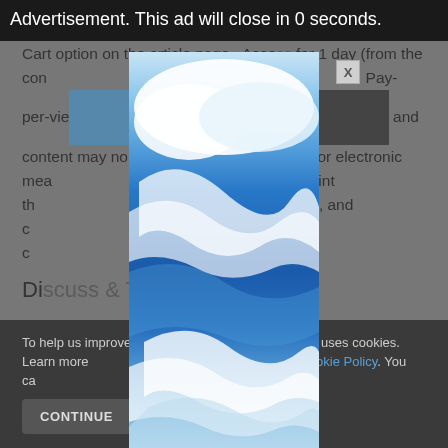Advertisement. This ad will close in 0 seconds.
individual access to articles is available through the Add to Cart option on the article page.  Access for 1 day (from the con [...]. Pay-per-view [...] and content may no [...] print or electronic mea [...] wnload, and/or print th [...] scholarly, research, and c [...] copies (electronic or c [...] t allowed.
[Figure (photo): Advertisement modal overlay showing a blue sky with swirling clouds photograph, displayed as a tall vertical banner ad in the center of the page.]
To help us improve y [...] his website uses cookies. Learn more [...] your settings in our Cookie Policy. You c[...]
CONTINUE    FIND [...]